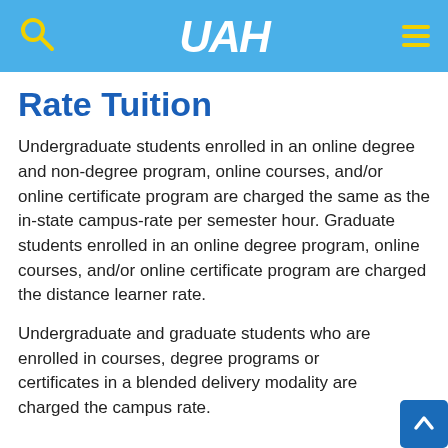UAH
Rate Tuition
Undergraduate students enrolled in an online degree and non-degree program, online courses, and/or online certificate program are charged the same as the in-state campus-rate per semester hour. Graduate students enrolled in an online degree program, online courses, and/or online certificate program are charged the distance learner rate.
Undergraduate and graduate students who are enrolled in courses, degree programs or certificates in a blended delivery modality are charged the campus rate.